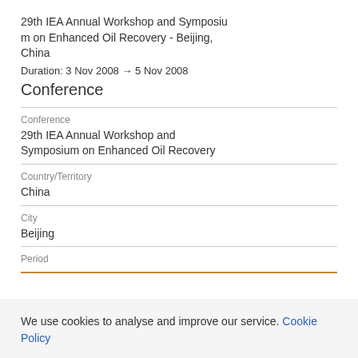29th IEA Annual Workshop and Symposium on Enhanced Oil Recovery - Beijing, China
Duration: 3 Nov 2008 → 5 Nov 2008
Conference
Conference
29th IEA Annual Workshop and Symposium on Enhanced Oil Recovery
Country/Territory
China
City
Beijing
Period
We use cookies to analyse and improve our service. Cookie Policy